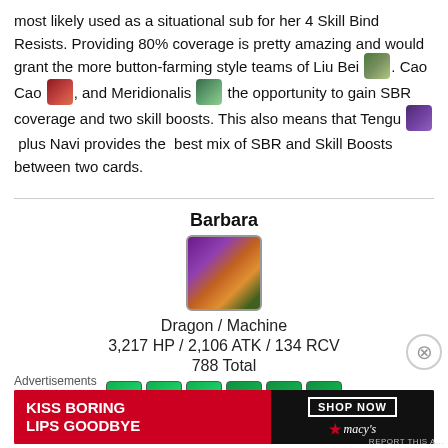most likely used as a situational sub for her 4 Skill Bind Resists. Providing 80% coverage is pretty amazing and would grant the more button-farming style teams of Liu Bei, Cao Cao, and Meridionalis the opportunity to gain SBR coverage and two skill boosts. This also means that Tengu plus Navi provides the best mix of SBR and Skill Boosts between two cards.
Barbara
[Figure (illustration): Barbara character icon showing a colorful dragon/machine character]
Dragon / Machine
3,217 HP / 2,106 ATK / 134 RCV
788 Total
[Figure (illustration): Six awakening skill icons in a row]
Advertisements
[Figure (illustration): Macy's advertisement: KISS BORING LIPS GOODBYE with SHOP NOW button and Macy's star logo]